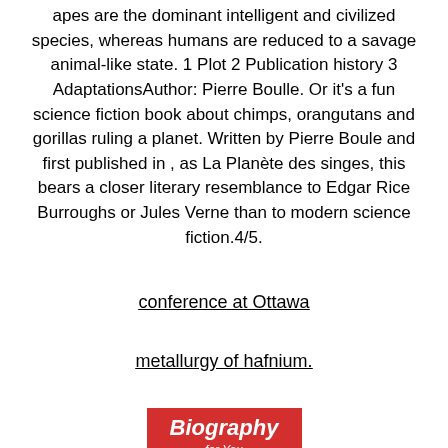apes are the dominant intelligent and civilized species, whereas humans are reduced to a savage animal-like state. 1 Plot 2 Publication history 3 AdaptationsAuthor: Pierre Boulle. Or it's a fun science fiction book about chimps, orangutans and gorillas ruling a planet. Written by Pierre Boule and first published in , as La Planète des singes, this bears a closer literary resemblance to Edgar Rice Burroughs or Jules Verne than to modern science fiction.4/5.
conference at Ottawa
metallurgy of hafnium.
[Figure (illustration): Red and blue 'Biography for You' book/logo image with italic bold text and a circular portrait icon at the bottom]